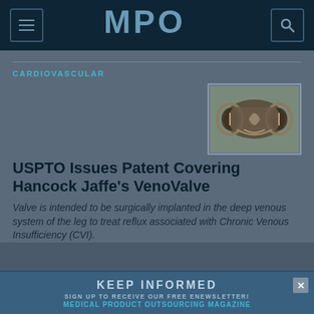MPO
CARDIOVASCULAR
[Figure (photo): 3D rendering of a venous valve medical device (VenoValve) showing a bicuspid valve structure in dark metallic/brown tones]
USPTO Issues Patent Covering Hancock Jaffe's VenoValve
Valve is intended to be surgically implanted in the deep venous system of the leg to treat reflux associated with Chronic Venous Insufficiency (CVI).
KEEP INFORMED
SIGN UP TO RECEIVE OUR FREE ENEWSLETTER!
MEDICAL PRODUCT OUTSOURCING MAGAZINE